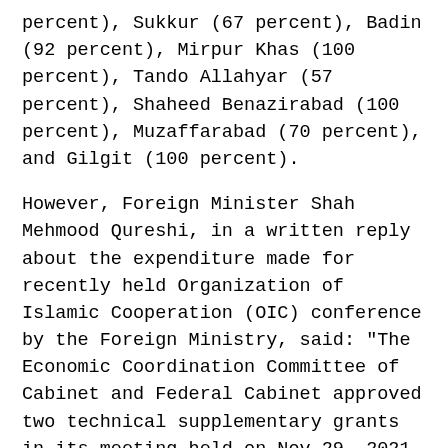percent), Sukkur (67 percent), Badin (92 percent), Mirpur Khas (100 percent), Tando Allahyar (57 percent), Shaheed Benazirabad (100 percent), Muzaffarabad (70 percent), and Gilgit (100 percent).
However, Foreign Minister Shah Mehmood Qureshi, in a written reply about the expenditure made for recently held Organization of Islamic Cooperation (OIC) conference by the Foreign Ministry, said: "The Economic Coordination Committee of Cabinet and Federal Cabinet approved two technical supplementary grants in its meeting held on Nov 29, 2021, i.e., (i) Rs233.342 million for foreign affairs ministry and (ii) Rs64.2 million for Interior Ministry. The grant for Interior Ministry includes Rs25.8 million for